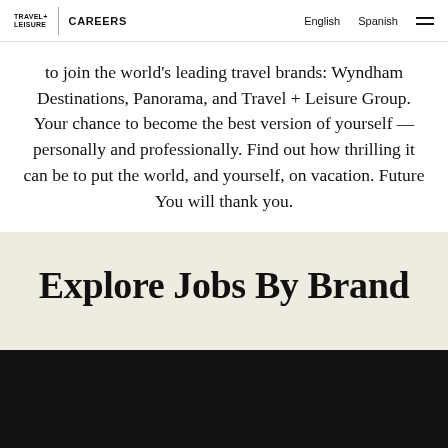TRAVEL+ LEISURE | CAREERS   English   Spanish
to join the world's leading travel brands: Wyndham Destinations, Panorama, and Travel + Leisure Group. Your chance to become the best version of yourself — personally and professionally. Find out how thrilling it can be to put the world, and yourself, on vacation. Future You will thank you.
Explore Jobs By Brand
[Figure (photo): Black image strip at the bottom of the page]